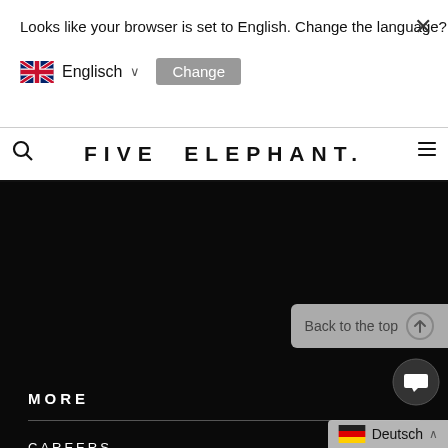Looks like your browser is set to English. Change the language?
Englisch   Change
FIVE  ELEPHANT.
MORE
CAREERS.
CONTACT.
FAQ.
INFORMATION.
STORIES.
Back to the top
SOZIALE
Deutsch